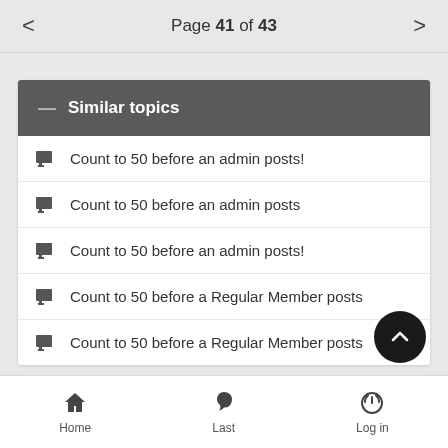Page 41 of 43
Similar topics
Count to 50 before an admin posts!
Count to 50 before an admin posts
Count to 50 before an admin posts!
Count to 50 before a Regular Member posts
Count to 50 before a Regular Member posts
Home  Last  Log in